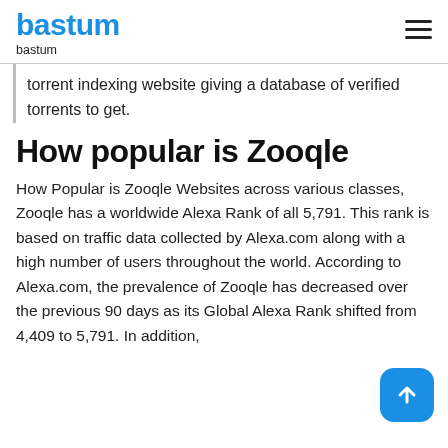bastum
bastum
torrent indexing website giving a database of verified torrents to get.
How popular is Zooqle
How Popular is Zooqle Websites across various classes, Zooqle has a worldwide Alexa Rank of all 5,791. This rank is based on traffic data collected by Alexa.com along with a high number of users throughout the world. According to Alexa.com, the prevalence of Zooqle has decreased over the previous 90 days as its Global Alexa Rank shifted from 4,409 to 5,791. In addition,